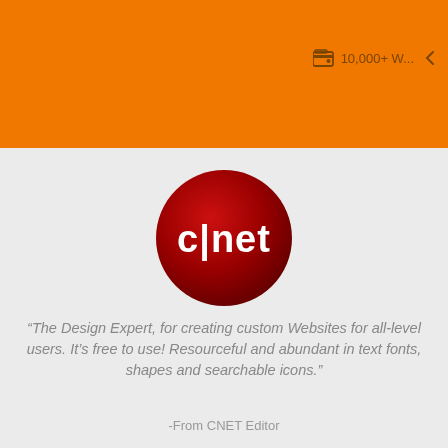[Figure (screenshot): Orange banner header with wallet icon and '10,000+ W...' text and a back arrow icon on right side]
[Figure (logo): CNET logo: red circle with white 'c|net' text]
“The Design Expert, for creating custom Websites for all-level users. It’s free to use! Resourceful and abundant in text fonts, shapes and searchable icons.”
-From CNET Editor